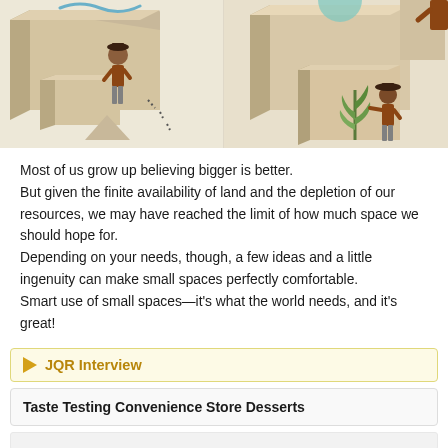[Figure (illustration): Illustrated scene with two panels: left shows a person in brown clothes standing near large beige/tan boxes with a dotted path; right shows a person in a hat tending a green plant among large tan geometric boxes.]
Most of us grow up believing bigger is better.
But given the finite availability of land and the depletion of our resources, we may have reached the limit of how much space we should hope for.
Depending on your needs, though, a few ideas and a little ingenuity can make small spaces perfectly comfortable.
Smart use of small spaces—it's what the world needs, and it's great!
JQR Interview
Taste Testing Convenience Store Desserts